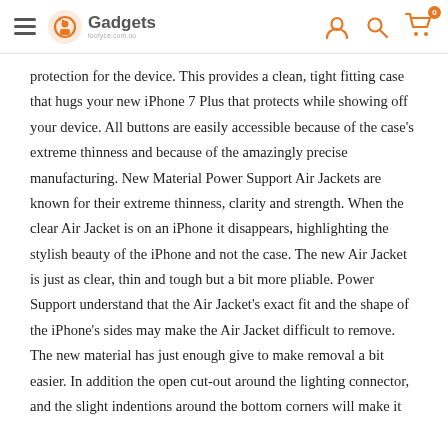Gadgets (logo/navigation bar with hamburger menu, user icon, search icon, cart icon with badge 0)
protection for the device. This provides a clean, tight fitting case that hugs your new iPhone 7 Plus that protects while showing off your device. All buttons are easily accessible because of the case's extreme thinness and because of the amazingly precise manufacturing. New Material Power Support Air Jackets are known for their extreme thinness, clarity and strength. When the clear Air Jacket is on an iPhone it disappears, highlighting the stylish beauty of the iPhone and not the case. The new Air Jacket is just as clear, thin and tough but a bit more pliable. Power Support understand that the Air Jacket's exact fit and the shape of the iPhone's sides may make the Air Jacket difficult to remove. The new material has just enough give to make removal a bit easier. In addition the open cut-out around the lighting connector, and the slight indentions around the bottom corners will make it